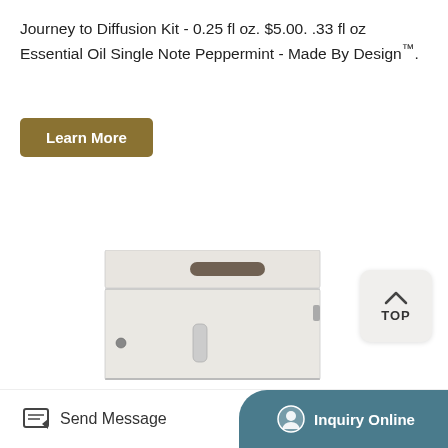Journey to Diffusion Kit - 0.25 fl oz. $5.00. .33 fl oz Essential Oil Single Note Peppermint - Made By Design™.
[Figure (other): A button labeled 'Learn More' with golden/olive background color]
[Figure (photo): A white metal cabinet/locker with a door handle and lock, shown from an angle. The cabinet has a top section and a main door section with a rectangular handle.]
[Figure (other): A 'TOP' button with an upward chevron arrow, on a light grey rounded square background, positioned at the top right of the image area.]
Send Message
Inquiry Online